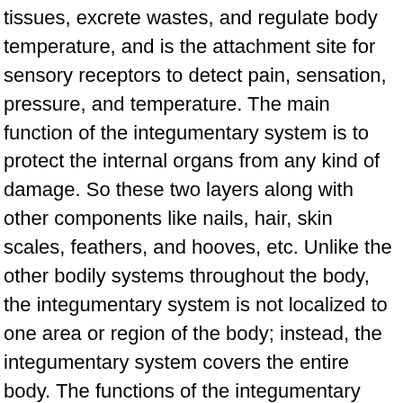tissues, excrete wastes, and regulate body temperature, and is the attachment site for sensory receptors to detect pain, sensation, pressure, and temperature. The main function of the integumentary system is to protect the internal organs from any kind of damage. So these two layers along with other components like nails, hair, skin scales, feathers, and hooves, etc. Unlike the other bodily systems throughout the body, the integumentary system is not localized to one area or region of the body; instead, the integumentary system covers the entire body. The functions of the integumentary system are: Protection. Start studying Functions of the Integumentary System. Integumentary System The Integumentary system is defined as “an organ system consisting in the skin, hair, nails, and exocrine glands” (Integumentary System, 1999). Skin is composed of two main layers, the epidermis and dermis. Integumentary System Functions. In fact, the human body has three layers of skin: the epidermis, the dermis, and the subcutaneous layer. Facts About The Six Primary Functions Of